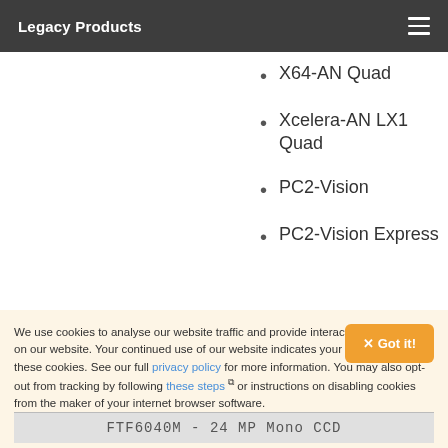Legacy Products
X64-AN Quad
Xcelera-AN LX1 Quad
PC2-Vision
PC2-Vision Express
We use cookies to analyse our website traffic and provide interactive functionality on our website. Your continued use of our website indicates your acceptance of these cookies. See our full privacy policy for more information. You may also opt-out from tracking by following these steps or instructions on disabling cookies from the maker of your internet browser software.
FTF6040M - 24 MP Mono CCD